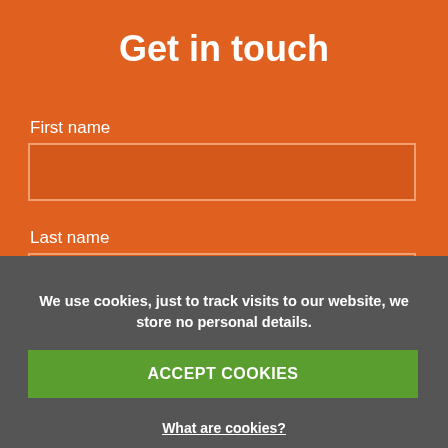Get in touch
First name
[Figure (other): Empty text input field for first name]
Last name
[Figure (other): Empty text input field for last name]
Phone number
[Figure (other): Empty text input field for phone number]
We use cookies, just to track visits to our website, we store no personal details.
ACCEPT COOKIES
What are cookies?